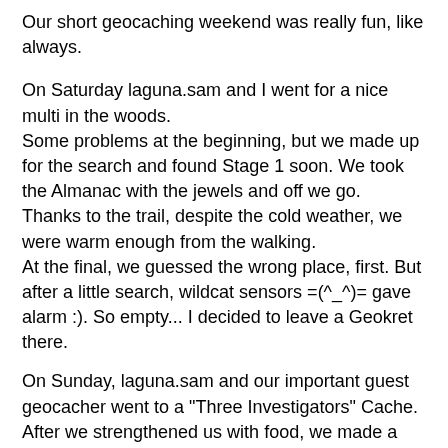Our short geocaching weekend was really fun, like always.
On Saturday laguna.sam and I went for a nice multi in the woods.
Some problems at the beginning, but we made up for the search and found Stage 1 soon. We took the Almanac with the jewels and off we go.
Thanks to the trail, despite the cold weather, we were warm enough from the walking.
At the final, we guessed the wrong place, first. But after a little search, wildcat sensors =(^_^)= gave alarm :). So empty... I decided to leave a Geokret there.
On Sunday, laguna.sam and our important guest geocacher went to a "Three Investigators" Cache. After we strengthened us with food, we made a little Traditional before the first stage. We had no coffee, but malt beer and water. :).First stage found quickly. We wished there would have been some hot coffee inside. One nice stage after another we solved bravely. As I looked for the place for the gun, I found the dead body :). Brilliant!